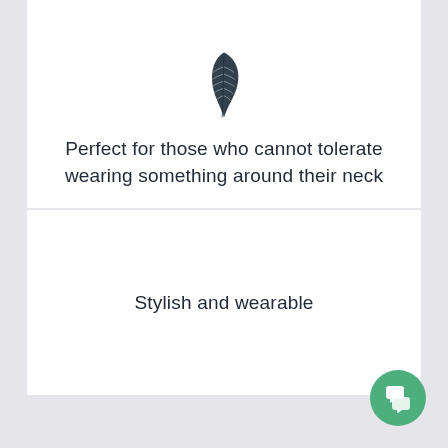[Figure (illustration): A dark feather icon centered at the top of the first card]
Perfect for those who cannot tolerate wearing something around their neck
Stylish and wearable
[Figure (other): Green circular chat/support button in the bottom-right corner]